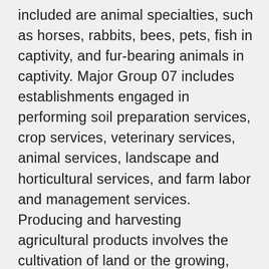included are animal specialties, such as horses, rabbits, bees, pets, fish in captivity, and fur-bearing animals in captivity. Major Group 07 includes establishments engaged in performing soil preparation services, crop services, veterinary services, animal services, landscape and horticultural services, and farm labor and management services. Producing and harvesting agricultural products involves the cultivation of land or the growing, raising, or gathering of the commodities described in Codes 0111 to 0291 of the SIC Manual and integral activities thereto described in Code 0711 to 0783 of the SIC Manual. Such activities include, but are not limited to, flame weeding, pest control, nut hulling and shelling, crop drying, cotton ginning, poultry and pig brooding, livestock breeding, water heating, crop heating, and fruit ripening. Producing and harvesting